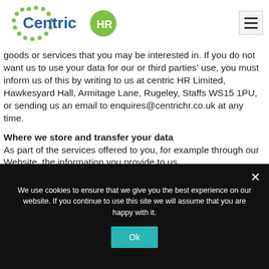[Figure (logo): Centric HR logo with green dotted circle and blue/green text]
goods or services that you may be interested in. If you do not want us to use your data for our or third parties' use, you must inform us of this by writing to us at centric HR Limited, Hawkesyard Hall, Armitage Lane, Rugeley, Staffs WS15 1PU, or sending us an email to enquires@centrichr.co.uk at any time.
Where we store and transfer your data
As part of the services offered to you, for example through our Website, the information you provide to us
We use cookies to ensure that we give you the best experience on our website. If you continue to use this site we will assume that you are happy with it.